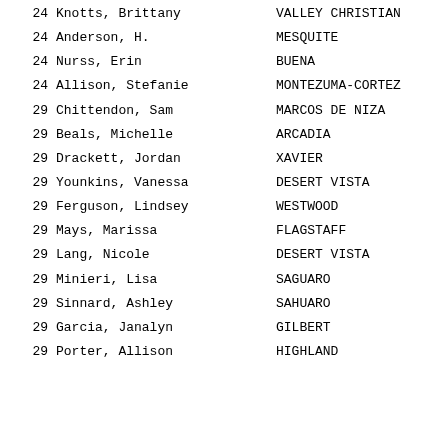24 Knotts, Brittany  VALLEY CHRISTIAN
24 Anderson, H.  MESQUITE
24 Nurss, Erin  BUENA
24 Allison, Stefanie  MONTEZUMA-CORTEZ
29 Chittendon, Sam  MARCOS DE NIZA
29 Beals, Michelle  ARCADIA
29 Drackett, Jordan  XAVIER
29 Younkins, Vanessa  DESERT VISTA
29 Ferguson, Lindsey  WESTWOOD
29 Mays, Marissa  FLAGSTAFF
29 Lang, Nicole  DESERT VISTA
29 Minieri, Lisa  SAGUARO
29 Sinnard, Ashley  SAHUARO
29 Garcia, Janalyn  GILBERT
29 Porter, Allison  HIGHLAND